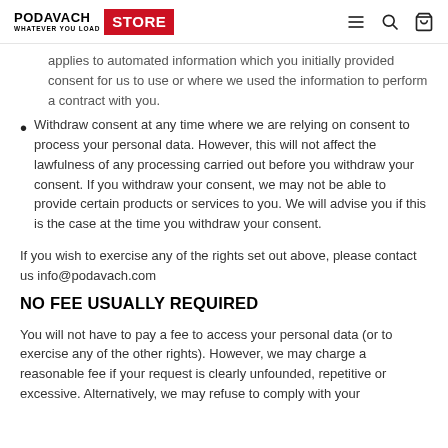PODAVACH WHATEVER YOU LOAD | STORE
applies to automated information which you initially provided consent for us to use or where we used the information to perform a contract with you.
Withdraw consent at any time where we are relying on consent to process your personal data. However, this will not affect the lawfulness of any processing carried out before you withdraw your consent. If you withdraw your consent, we may not be able to provide certain products or services to you. We will advise you if this is the case at the time you withdraw your consent.
If you wish to exercise any of the rights set out above, please contact us info@podavach.com
NO FEE USUALLY REQUIRED
You will not have to pay a fee to access your personal data (or to exercise any of the other rights). However, we may charge a reasonable fee if your request is clearly unfounded, repetitive or excessive. Alternatively, we may refuse to comply with your